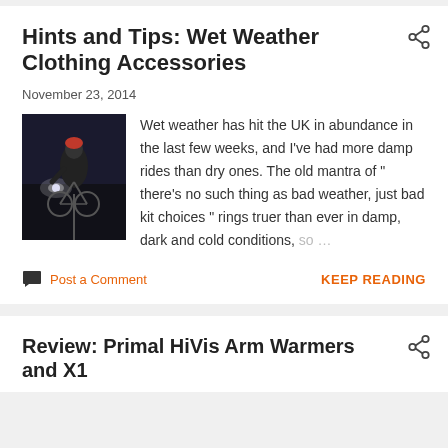Hints and Tips: Wet Weather Clothing Accessories
November 23, 2014
[Figure (photo): Cyclist riding at night with lights, wearing dark clothing and red helmet]
Wet weather has hit the UK in abundance in the last few weeks, and I've had more damp rides than dry ones. The old mantra of " there's no such thing as bad weather, just bad kit choices " rings truer than ever in damp, dark and cold conditions, so …
Post a Comment
KEEP READING
Review: Primal HiVis Arm Warmers and X1